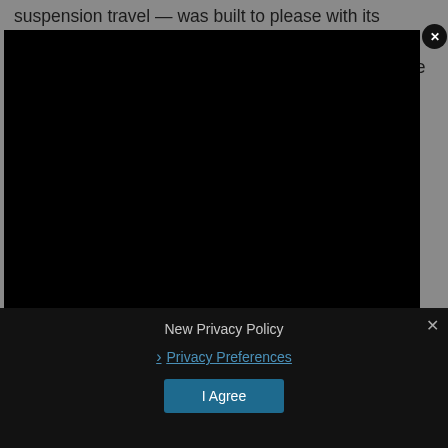suspension travel — was built to please with its precision handling and point-and-shoot dynamics. A standard anti-roll bar ensures optimal cornering while delivering a smooth and stable ride. The Spyder RT model has a slightly wider track than the Spyder RS
[Figure (screenshot): A black video player modal overlay with an X close button in the top-right corner on a gray background page]
New Privacy Policy
› Privacy Preferences
I Agree